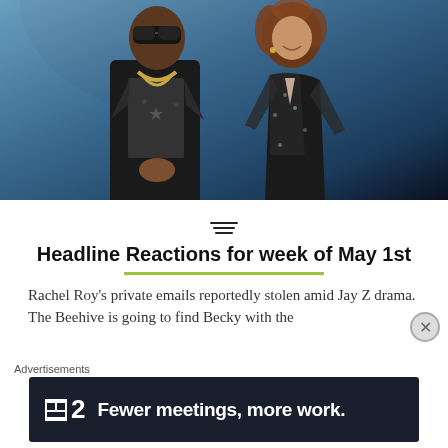[Figure (photo): Two people standing on a stage: a man on the left wearing sunglasses, a dark blazer, star-print shirt, and gold chain necklace; a woman on the right in a black sheer sequined bodysuit with long sleeves, smiling. Blue-lit background suggesting a concert performance.]
Headline Reactions for week of May 1st
Rachel Roy's private emails reportedly stolen amid Jay Z drama. The Beehive is going to find Becky with the
Advertisements
[Figure (screenshot): Dark advertisement banner reading '2 Fewer meetings, more work.' with a white square logo icon on the left.]